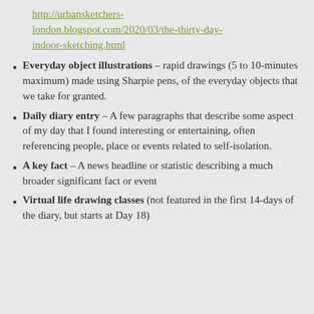http://urbansketchers-london.blogspot.com/2020/03/the-thirty-day-indoor-sketching.html
Everyday object illustrations – rapid drawings (5 to 10-minutes maximum) made using Sharpie pens, of the everyday objects that we take for granted.
Daily diary entry – A few paragraphs that describe some aspect of my day that I found interesting or entertaining, often referencing people, place or events related to self-isolation.
A key fact – A news headline or statistic describing a much broader significant fact or event
Virtual life drawing classes (not featured in the first 14-days of the diary, but starts at Day 18)